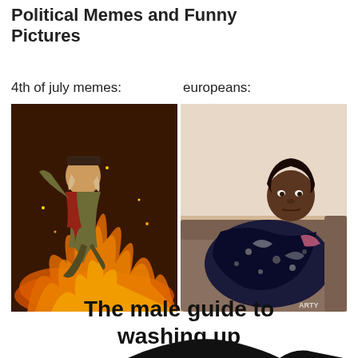Political Memes and Funny Pictures
4th of july memes:
europeans:
[Figure (photo): Left panel: dramatic fantasy/historical painting of an American Revolutionary War soldier (George Washington style figure) in mid-air amid fire and battle. Right panel: photo of a woman sitting on a couch wrapped in a dark patterned blanket with a neutral/unimpressed expression.]
The male guide to washing up